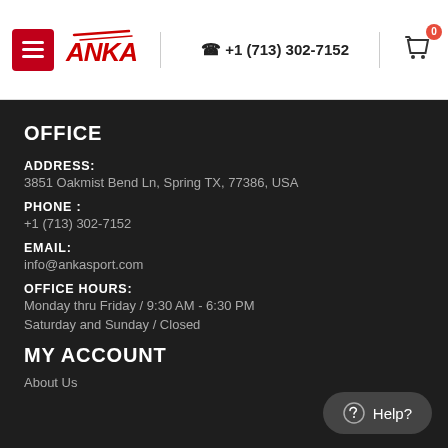≡ ANKA | +1 (713) 302-7152 | 🛍 0
OFFICE
ADDRESS:
3851 Oakmist Bend Ln, Spring TX, 77386, USA
PHONE :
+1 (713) 302-7152
EMAIL:
info@ankasport.com
OFFICE HOURS:
Monday thru Friday / 9:30 AM - 6:30 PM
Saturday and Sunday / Closed
MY ACCOUNT
About Us